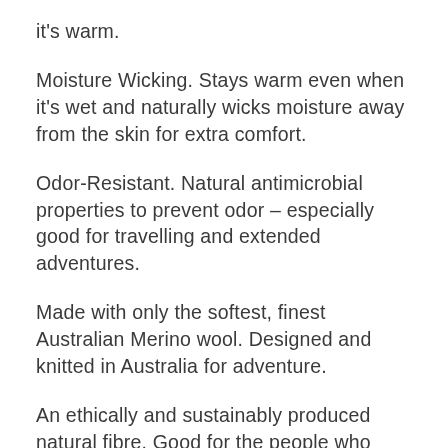it's warm.
Moisture Wicking. Stays warm even when it's wet and naturally wicks moisture away from the skin for extra comfort.
Odor-Resistant. Natural antimicrobial properties to prevent odor – especially good for travelling and extended adventures.
Made with only the softest, finest Australian Merino wool. Designed and knitted in Australia for adventure.
An ethically and sustainably produced natural fibre. Good for the people who make it. Good for the planet.